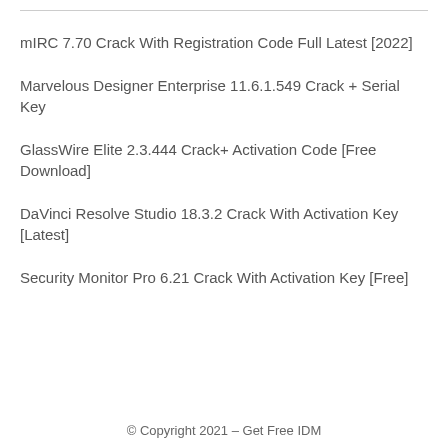mIRC 7.70 Crack With Registration Code Full Latest [2022]
Marvelous Designer Enterprise 11.6.1.549 Crack + Serial Key
GlassWire Elite 2.3.444 Crack+ Activation Code [Free Download]
DaVinci Resolve Studio 18.3.2 Crack With Activation Key [Latest]
Security Monitor Pro 6.21 Crack With Activation Key [Free]
© Copyright 2021 – Get Free IDM